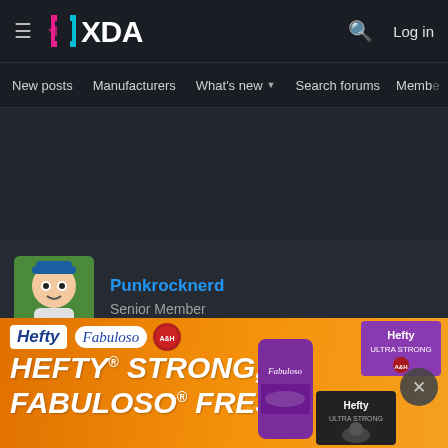XDA Forums navigation header with hamburger menu, XDA logo, search icon, and Log in button
New posts   Manufacturers   What's new ▾   Search forums   Membe  >
[Figure (other): Blank dark advertisement placeholder area]
Punkrocknerd
Senior Member
Nov 12, 2016
Niem...
[Figure (other): Hefty + Fabuloso advertisement banner: HEFTY STRONG, FABULOSO FRESH with product images]